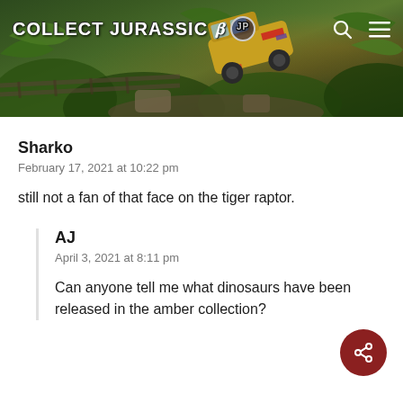[Figure (screenshot): Collect Jurassic website header banner with jungle/dinosaur themed illustration showing an overturned vehicle, with site logo 'COLLECT JURASSIC' and Jurassic Park icon on the left, search and menu icons on the right.]
Sharko
February 17, 2021 at 10:22 pm
still not a fan of that face on the tiger raptor.
AJ
April 3, 2021 at 8:11 pm
Can anyone tell me what dinosaurs have been released in the amber collection?